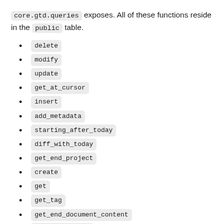core.gtd.queries exposes. All of these functions reside in the public table.
delete
modify
update
get_at_cursor
insert
add_metadata
starting_after_today
diff_with_today
get_end_project
create
get
get_tag
get_end_document_content
date_converter